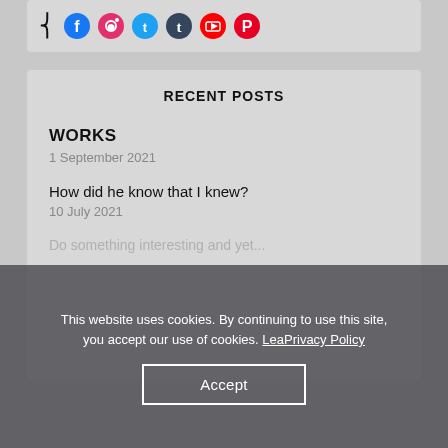[Figure (other): Social media icons row: RSS feed, Facebook, Instagram, Twitter, Tumblr, YouTube, Pinterest]
RECENT POSTS
WORKS
1 September 2021
How did he know that I knew?
10 July 2021
This website uses cookies. By continuing to use this site, you accept our use of cookies. LeaPrivacy Policy
Accept